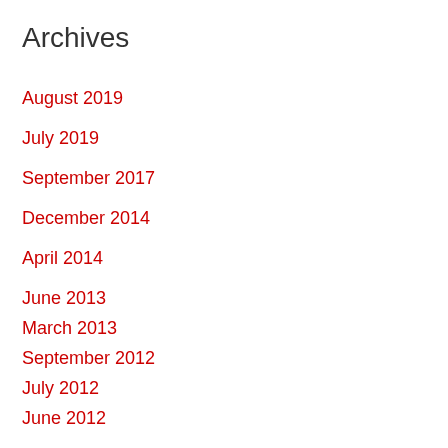Archives
August 2019
July 2019
September 2017
December 2014
April 2014
June 2013
March 2013
September 2012
July 2012
June 2012
May 2012
March 2012
February 2012